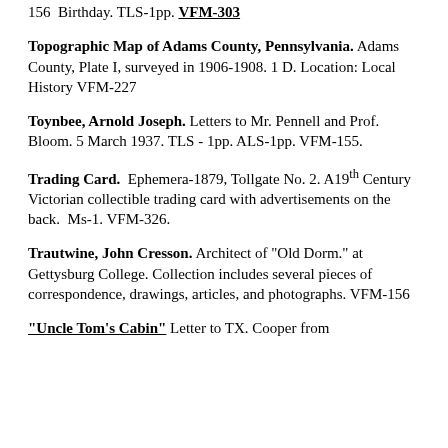156 Birthday. TLS-1pp. VFM-303
Topographic Map of Adams County, Pennsylvania. Adams County, Plate I, surveyed in 1906-1908. 1 D. Location: Local History VFM-227
Toynbee, Arnold Joseph. Letters to Mr. Pennell and Prof. Bloom. 5 March 1937. TLS - 1pp. ALS-1pp. VFM-155.
Trading Card. Ephemera-1879, Tollgate No. 2. A19th Century Victorian collectible trading card with advertisements on the back. Ms-1. VFM-326.
Trautwine, John Cresson. Architect of "Old Dorm." at Gettysburg College. Collection includes several pieces of correspondence, drawings, articles, and photographs. VFM-156
"Uncle Tom's Cabin" Letter to TX. Cooper from